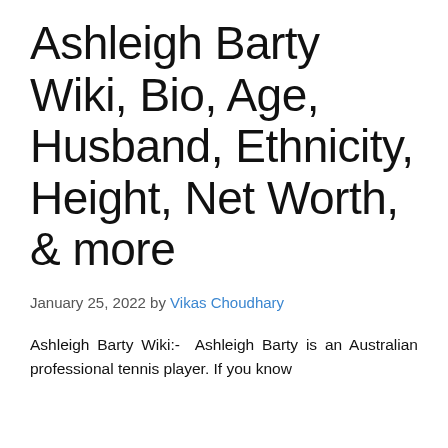Ashleigh Barty Wiki, Bio, Age, Husband, Ethnicity, Height, Net Worth, & more
January 25, 2022 by Vikas Choudhary
Ashleigh Barty Wiki:- Ashleigh Barty is an Australian professional tennis player. If you know